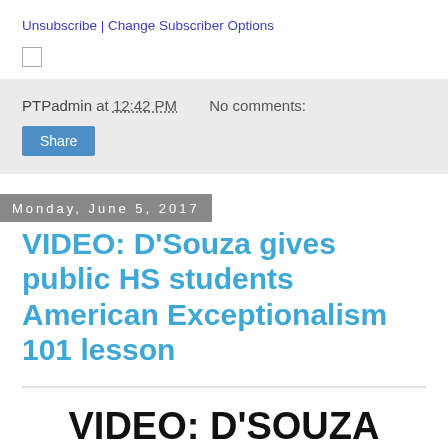Unsubscribe | Change Subscriber Options
PTPadmin at 12:42 PM    No comments:
Share
Monday, June 5, 2017
VIDEO: D'Souza gives public HS students American Exceptionalism 101 lesson
VIDEO: D'SOUZA GIVES